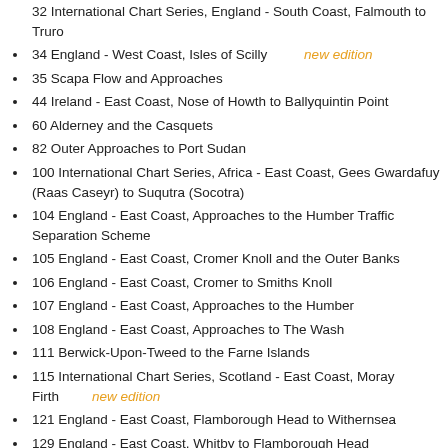32 International Chart Series, England - South Coast, Falmouth to Truro
34 England - West Coast, Isles of Scilly  new edition
35 Scapa Flow and Approaches
44 Ireland - East Coast, Nose of Howth to Ballyquintin Point
60 Alderney and the Casquets
82 Outer Approaches to Port Sudan
100 International Chart Series, Africa - East Coast, Gees Gwardafuy (Raas Caseyr) to Suqutra (Socotra)
104 England - East Coast, Approaches to the Humber Traffic Separation Scheme
105 England - East Coast, Cromer Knoll and the Outer Banks
106 England - East Coast, Cromer to Smiths Knoll
107 England - East Coast, Approaches to the Humber
108 England - East Coast, Approaches to The Wash
111 Berwick-Upon-Tweed to the Farne Islands
115 International Chart Series, Scotland - East Coast, Moray Firth  new edition
121 England - East Coast, Flamborough Head to Withernsea
129 England - East Coast, Whitby to Flamborough Head
134 England - East Coast, River Tees to Scarborough
146 Aberdeen Harbour Berths